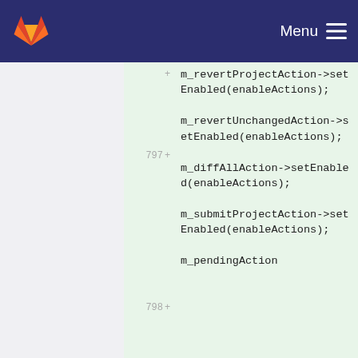GitLab Menu
[Figure (screenshot): GitLab code diff view showing added lines 797-800 with C++ code: m_revertProjectAction->setEnabled(enableActions); m_revertUnchangedAction->setEnabled(enableActions); m_diffAllAction->setEnabled(enableActions); m_submitProjectAction->setEnabled(enableActions); and beginning of m_pendingAction]